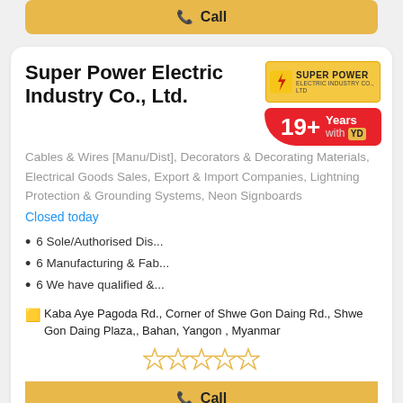Call (top button)
Super Power Electric Industry Co., Ltd.
Cables & Wires [Manu/Dist], Decorators & Decorating Materials, Electrical Goods Sales, Export & Import Companies, Lightning Protection & Grounding Systems, Neon Signboards
Closed today
6 Sole/Authorised Dis...
6 Manufacturing & Fab...
6 We have qualified &...
Kaba Aye Pagoda Rd., Corner of Shwe Gon Daing Rd., Shwe Gon Daing Plaza,, Bahan, Yangon , Myanmar
[Figure (other): 5 empty star rating icons]
Call (bottom button)